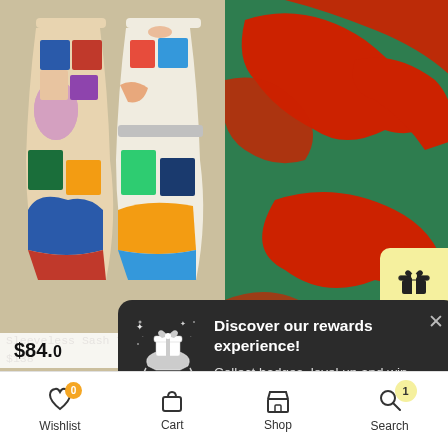[Figure (screenshot): Shopping app screenshot showing colorful dress illustrations on left, green fabric with red animal print on right, a rewards popup overlay, and bottom navigation bar]
Sleeveless Sash Tie Dress
$138
Discover our rewards experience!
Collect badges, level up and win points to receive free vouchers!
Join now
$84.0
LORIS
Wishlist  Cart  Shop  Search